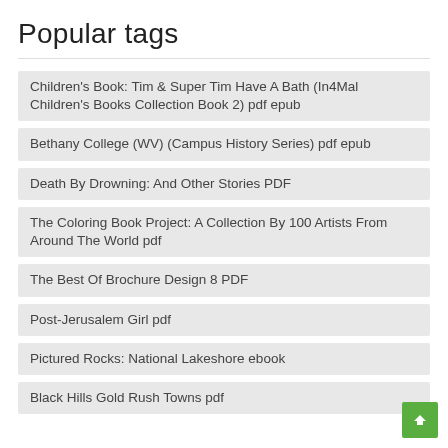Popular tags
Children's Book: Tim & Super Tim Have A Bath (In4Mal Children's Books Collection Book 2) pdf epub
Bethany College (WV) (Campus History Series) pdf epub
Death By Drowning: And Other Stories PDF
The Coloring Book Project: A Collection By 100 Artists From Around The World pdf
The Best Of Brochure Design 8 PDF
Post-Jerusalem Girl pdf
Pictured Rocks: National Lakeshore ebook
Black Hills Gold Rush Towns pdf